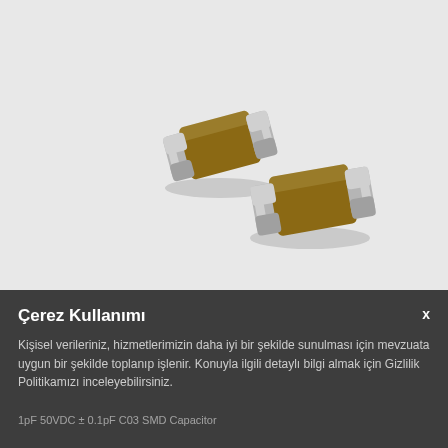[Figure (photo): Two small brown SMD ceramic capacitors (0603 package) on a light grey background. One is positioned upper-left, one lower-right. Each has silver metallic end caps and a brown ceramic body.]
Çerez Kullanımı
Kişisel verileriniz, hizmetlerimizin daha iyi bir şekilde sunulması için mevzuata uygun bir şekilde toplanıp işlenir. Konuyla ilgili detaylı bilgi almak için Gizlilik Politikamızı inceleyebilirsiniz.
1pF 50VDC ± 0.1pF C03 SMD Capacitor